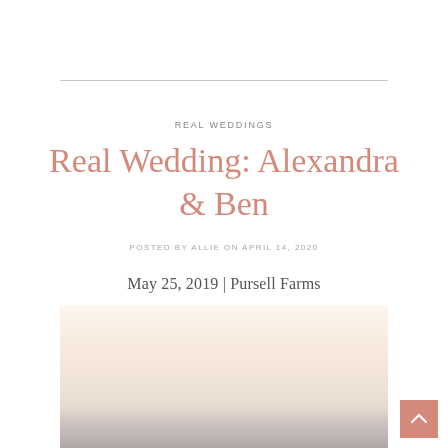REAL WEDDINGS
Real Wedding: Alexandra & Ben
POSTED BY ALLIE ON APRIL 14, 2020
May 25, 2019 | Pursell Farms
[Figure (photo): Outdoor landscape photo with warm sunset sky, pale peach and cream tones fading to grey silhouette at the bottom, taken at Pursell Farms]